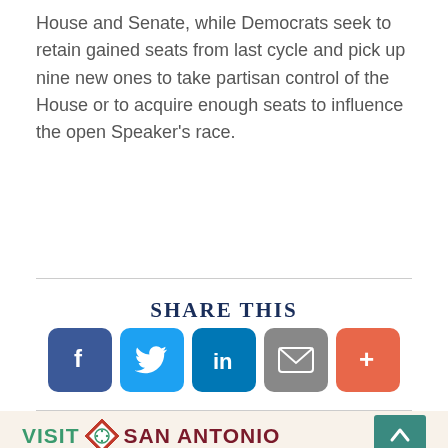House and Senate, while Democrats seek to retain gained seats from last cycle and pick up nine new ones to take partisan control of the House or to acquire enough seats to influence the open Speaker's race.
SHARE THIS
[Figure (infographic): Social share buttons: Facebook (blue), Twitter (light blue), LinkedIn (dark blue), Email (grey), More/Plus (orange-red)]
[Figure (logo): Visit San Antonio logo with diamond-shaped decorative icon, teal VISIT text, red SAN ANTONIO text]